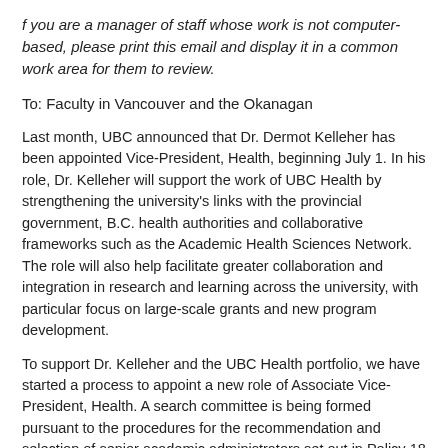f you are a manager of staff whose work is not computer-based, please print this email and display it in a common work area for them to review.
To: Faculty in Vancouver and the Okanagan
Last month, UBC announced that Dr. Dermot Kelleher has been appointed Vice-President, Health, beginning July 1. In his role, Dr. Kelleher will support the work of UBC Health by strengthening the university's links with the provincial government, B.C. health authorities and collaborative frameworks such as the Academic Health Sciences Network. The role will also help facilitate greater collaboration and integration in research and learning across the university, with particular focus on large-scale grants and new program development.
To support Dr. Kelleher and the UBC Health portfolio, we have started a process to appoint a new role of Associate Vice-President, Health. A search committee is being formed pursuant to the procedures for the recommendation and selection of senior academic administrators set out in Policy 18 (https://universitycounsel.ubc.ca/files/2018/06/policy18.pdf).